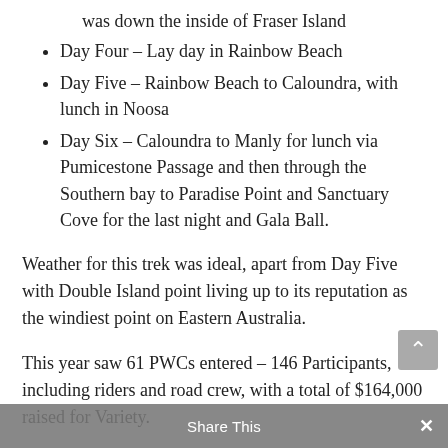was down the inside of Fraser Island
Day Four – Lay day in Rainbow Beach
Day Five – Rainbow Beach to Caloundra, with lunch in Noosa
Day Six – Caloundra to Manly for lunch via Pumicestone Passage and then through the Southern bay to Paradise Point and Sanctuary Cove for the last night and Gala Ball.
Weather for this trek was ideal, apart from Day Five with Double Island point living up to its reputation as the windiest point on Eastern Australia.
This year saw 61 PWCs entered – 146 Participants, including riders and road crew, with a total of $164,000 raised for Variety.